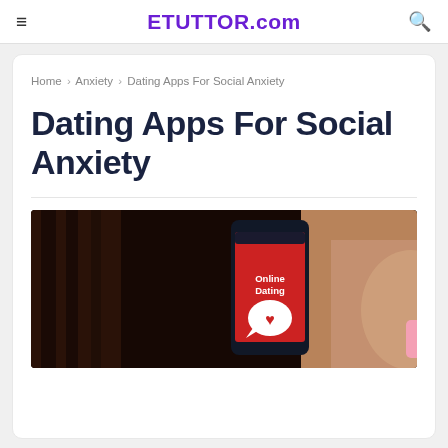≡  ETUTTOR.com  🔍
Home › Anxiety › Dating Apps For Social Anxiety
Dating Apps For Social Anxiety
[Figure (photo): A hand holding a smartphone displaying an online dating app with a red screen showing 'Online Dating' text and a white heart speech bubble icon]